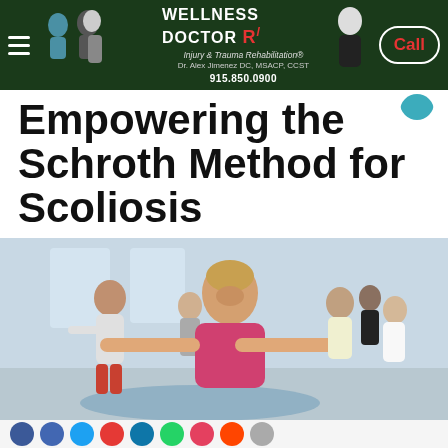WELLNESS DOCTOR R/ Injury & Trauma Rehabilitation® Dr. Alex Jimenez DC, MSACP, CCST 915.850.0900 Call
Empowering the Schroth Method for Scoliosis
[Figure (photo): Group exercise class with multiple adults performing stretching/yoga poses with arms extended. A smiling woman in a pink top is in the foreground, with a man in a white shirt and red pants and several others behind her, in a bright studio setting.]